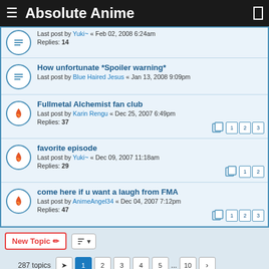Absolute Anime
Last post by Yuki~ « Feb 02, 2008 6:24am
Replies: 14
How unfortunate *Spoiler warning*
Last post by Blue Haired Jesus « Jan 13, 2008 9:09pm
Fullmetal Alchemist fan club
Last post by Karin Rengu « Dec 25, 2007 6:49pm
Replies: 37
favorite episode
Last post by Yuki~ « Dec 09, 2007 11:18am
Replies: 29
come here if u want a laugh from FMA
Last post by AnimeAngel34 « Dec 04, 2007 7:12pm
Replies: 47
287 topics  1 2 3 4 5 ... 10
Jump to
FORUM PERMISSIONS